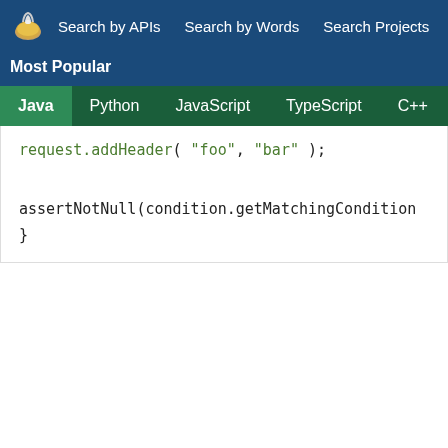Search by APIs  Search by Words  Search Projects
Most Popular
Java  Python  JavaScript  TypeScript  C++  Scala
request.addHeader( "foo",  "bar" );  assertNotNull(condition.getMatchingCondition  }